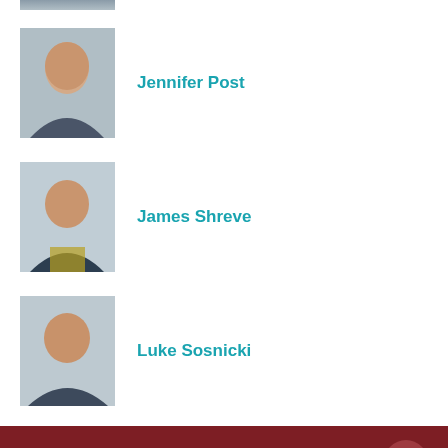[Figure (photo): Partial photo visible at top of page - person in suit]
[Figure (photo): Professional headshot of Jennifer Post]
Jennifer Post
[Figure (photo): Professional headshot of James Shreve]
James Shreve
[Figure (photo): Professional headshot of Luke Sosnicki]
Luke Sosnicki
RELATED EVENTS
June 15
Why Illinois Privacy and Cyber Developments